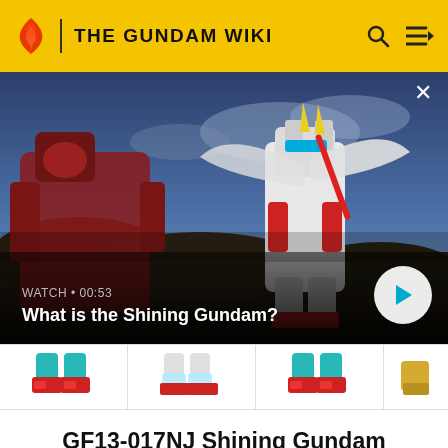THE GUNDAM WIKI
[Figure (screenshot): Anime screenshot showing a Gundam mecha robot standing in a dramatic pose against a cloudy sky, with a darker mecha/debris on the left side. Video player overlay showing watch time 00:53 and title 'What is the Shining Gundam?' with a play button.]
[Figure (illustration): Row of thumbnail images showing Gundam mecha feet/legs parts: teal/red colored feet (left), white/teal feet (center-left), teal/red feet (center-right), and a partial gold/yellow piece on the far right.]
GF13-017NJ Shining Gundam (GF13-017NJ シャイニングガンダム)